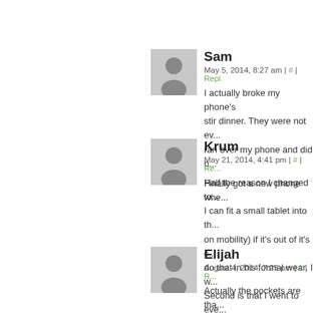[Figure (illustration): User avatar placeholder for Sam — gray silhouette icon]
Sam
May 5, 2014, 8:27 am | # | Reply
I actually broke my phone's screen making a stir dinner. They were not even... ran over my phone and did b...

Finally got a new phone whe...
[Figure (illustration): User avatar placeholder for Krum — gray silhouette icon]
Krum
May 21, 2014, 4:41 pm | # | Rep...
Half the reason I changed to... I can fit a small tablet into th... on mobility) if it's out of it's c... do that in his formal wear. I w... Second is that I went to eve... had skinny jeans. Who looks... get a pair that looks good on...
[Figure (illustration): User avatar placeholder for Elijah — gray silhouette icon]
Elijah
August 4, 2014, 7:25 pm | # | R...
Actually the pockets are tha... without getting a whole lot o... seem to constantly have to a... traps guy. I'm very happy ab...